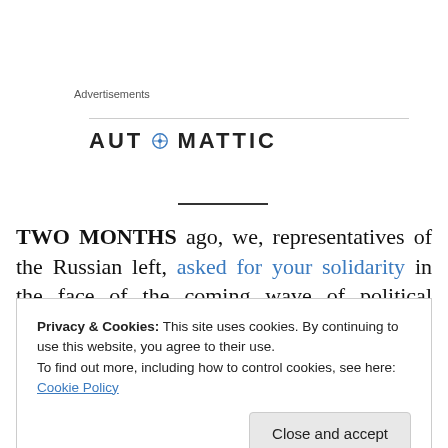Advertisements
[Figure (logo): Automattic logo with stylized compass O icon, bold all-caps sans-serif lettering]
TWO MONTHS ago, we, representatives of the Russian left, asked for your solidarity in the face of the coming wave of political repressions in Russia.
Privacy & Cookies: This site uses cookies. By continuing to use this website, you agree to their use.
To find out more, including how to control cookies, see here: Cookie Policy

Close and accept